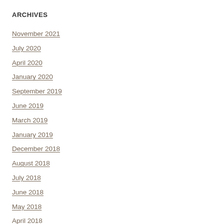ARCHIVES
November 2021
July 2020
April 2020
January 2020
September 2019
June 2019
March 2019
January 2019
December 2018
August 2018
July 2018
June 2018
May 2018
April 2018
March 2018
February 2018
January 2018